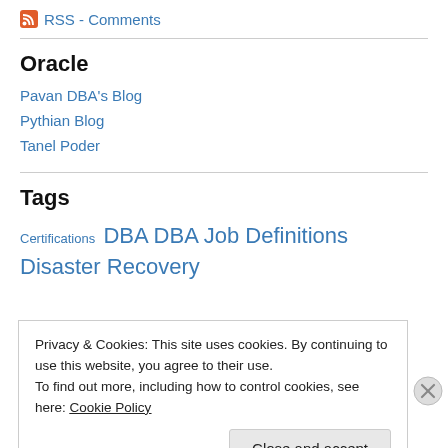RSS - Comments
Oracle
Pavan DBA's Blog
Pythian Blog
Tanel Poder
Tags
Certifications DBA DBA Job Definitions Disaster Recovery
Privacy & Cookies: This site uses cookies. By continuing to use this website, you agree to their use.
To find out more, including how to control cookies, see here: Cookie Policy
Close and accept